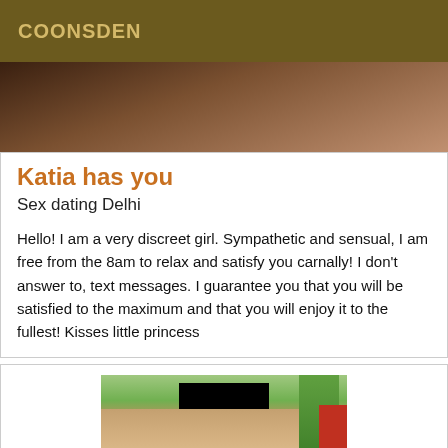COONSDEN
[Figure (photo): Partial photo visible at top of page, dark tones]
Katia has you
Sex dating Delhi
Hello! I am a very discreet girl. Sympathetic and sensual, I am free from the 8am to relax and satisfy you carnally! I don't answer to, text messages. I guarantee you that you will be satisfied to the maximum and that you will enjoy it to the fullest! Kisses little princess
[Figure (photo): Woman in bikini with face blacked out, standing outdoors near palm tree and red object]